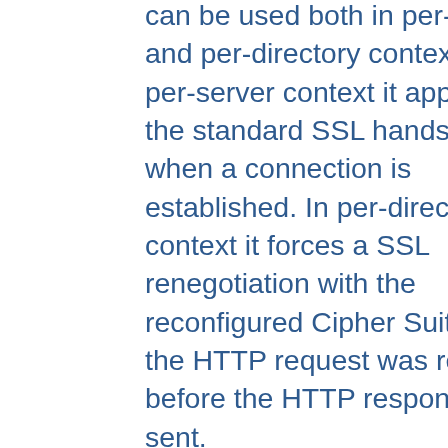can be used both in per-server and per-directory context. In per-server context it applies to the standard SSL handshake when a connection is established. In per-directory context it forces a SSL renegotiation with the reconfigured Cipher Suite after the HTTP request was read but before the HTTP response is sent.
If the SSL library supports TLSv1.3 (OpenSSL 1.1.1 and later), the protocol specifier "TLSv1.3" can be used to configure the cipher suites for that protocol. Since TLSv1.3 does not offer renegotiations, specifying ciphers for it in a directory context implies...